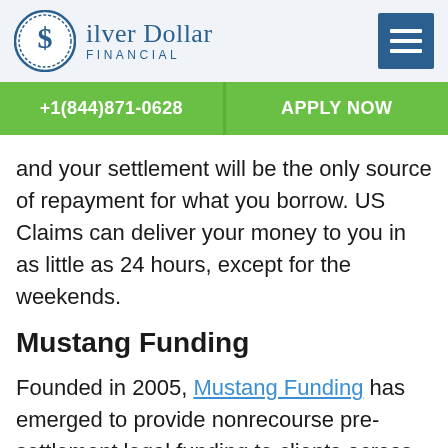Silver Dollar Financial
+1(844)871-0628    APPLY NOW
and your settlement will be the only source of repayment for what you borrow. US Claims can deliver your money to you in as little as 24 hours, except for the weekends.
Mustang Funding
Founded in 2005, Mustang Funding has emerged to provide nonrecourse pre-settlement legal funding to clients across the United States. They specialize in providing